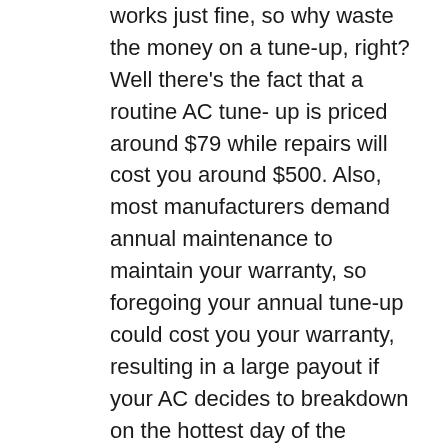works just fine, so why waste the money on a tune-up, right? Well there's the fact that a routine AC tune- up is priced around $79 while repairs will cost you around $500. Also, most manufacturers demand annual maintenance to maintain your warranty, so foregoing your annual tune-up could cost you your warranty, resulting in a large payout if your AC decides to breakdown on the hottest day of the season.
Myth 5: Learning about the contractor isn't important.
It's crucial to ensure you do your homework before picking an air conditioner service company, especially if you are for the first time.